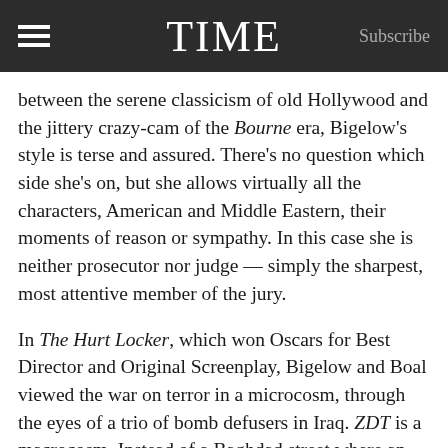TIME | Subscribe
between the serene classicism of old Hollywood and the jittery crazy-cam of the Bourne era, Bigelow’s style is terse and assured. There’s no question which side she’s on, but she allows virtually all the characters, American and Middle Eastern, their moments of reason or sympathy. In this case she is neither prosecutor nor judge — simply the sharpest, most attentive member of the jury.
In The Hurt Locker, which won Oscars for Best Director and Original Screenplay, Bigelow and Boal viewed the war on terror in a microcosm, through the eyes of a trio of bomb defusers in Iraq. ZDT is a macrocosm. Instead of a Baghdad street where an IED could explode underfoot, Maya and her colleagues tread a minefield that stretches from Kabul to Times Square. Though it focuses on the determination and resilience of Maya (who is based on a real CIA tracker), the film is a giant fresco, an imposing series of surgical strikes set in Pakistan, Afghanistan, Saudi Arabia,